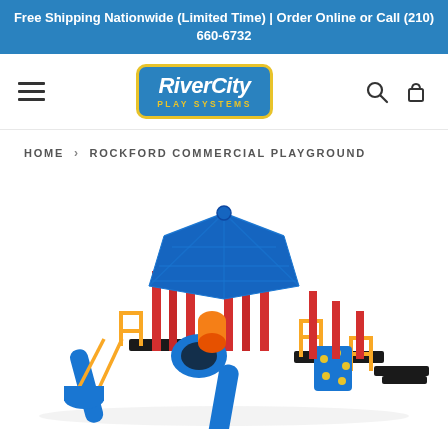Free Shipping Nationwide (Limited Time) | Order Online or Call (210) 660-6732
[Figure (logo): RiverCity Play Systems logo — blue rounded rectangle with yellow border, white italic bold text 'RiverCity' and yellow uppercase tracking text 'PLAY SYSTEMS']
HOME > ROCKFORD COMMERCIAL PLAYGROUND
[Figure (photo): Rockford Commercial Playground product photo — colorful playground structure with blue hexagonal roof canopy, red vertical poles, yellow railings, blue slides, blue tunnel arch, rock climbing panels, and black platform decking on a white background]